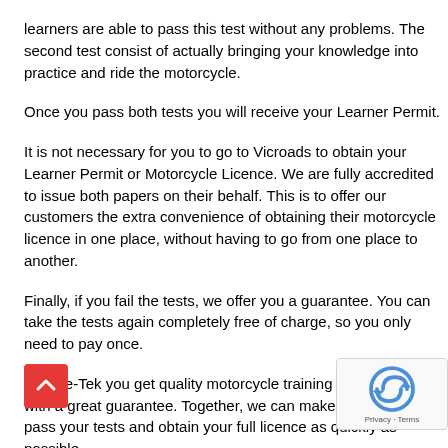learners are able to pass this test without any problems. The second test consist of actually bringing your knowledge into practice and ride the motorcycle.
Once you pass both tests you will receive your Learner Permit.
It is not necessary for you to go to Vicroads to obtain your Learner Permit or Motorcycle Licence. We are fully accredited to issue both papers on their behalf. This is to offer our customers the extra convenience of obtaining their motorcycle licence in one place, without having to go from one place to another.
Finally, if you fail the tests, we offer you a guarantee. You can take the tests again completely free of charge, so you only need to pay once.
At Ride-Tek you get quality motorcycle training at low prices with a great guarantee. Together, we can make sure that you pass your tests and obtain your full licence as quickly as possible.